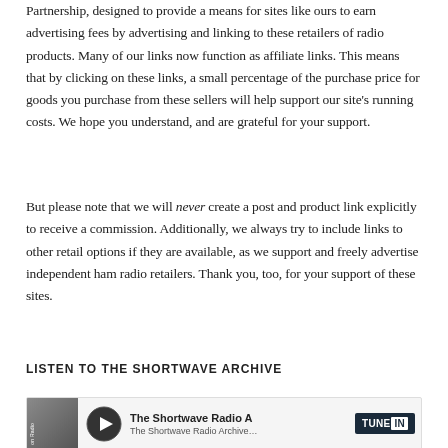Partnership, designed to provide a means for sites like ours to earn advertising fees by advertising and linking to these retailers of radio products. Many of our links now function as affiliate links. This means that by clicking on these links, a small percentage of the purchase price for goods you purchase from these sellers will help support our site's running costs. We hope you understand, and are grateful for your support.
But please note that we will never create a post and product link explicitly to receive a commission. Additionally, we always try to include links to other retail options if they are available, as we support and freely advertise independent ham radio retailers. Thank you, too, for your support of these sites.
LISTEN TO THE SHORTWAVE ARCHIVE
[Figure (screenshot): TuneIn radio widget showing The Shortwave Radio Archive with play button, thumbnail image, and TuneIn logo]